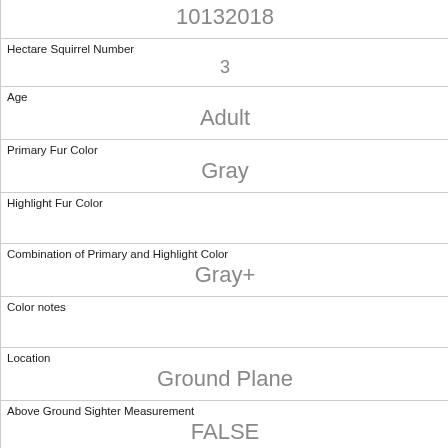| 10132018 |
| Hectare Squirrel Number | 3 |
| Age | Adult |
| Primary Fur Color | Gray |
| Highlight Fur Color |  |
| Combination of Primary and Highlight Color | Gray+ |
| Color notes |  |
| Location | Ground Plane |
| Above Ground Sighter Measurement | FALSE |
| Specific Location |  |
| Running | 0 |